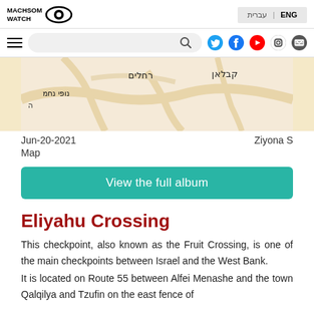MACHSOM WATCH | ENG | עברית
[Figure (logo): Machsom Watch logo with eye icon and text MACHSOM WATCH]
[Figure (screenshot): Navigation bar with hamburger menu, search box, and social media icons (Twitter, Facebook, YouTube, Instagram, Email)]
[Figure (map): Partial map image showing Hebrew place names: קבלאן, רחלים, נופי נחמיה]
Jun-20-2021    Ziyona S
Map
View the full album
Eliyahu Crossing
This checkpoint, also known as the Fruit Crossing, is one of the main checkpoints between Israel and the West Bank.
It is located on Route 55 between Alfei Menashe and the town Qalqilya and Tzufin on the east fence of